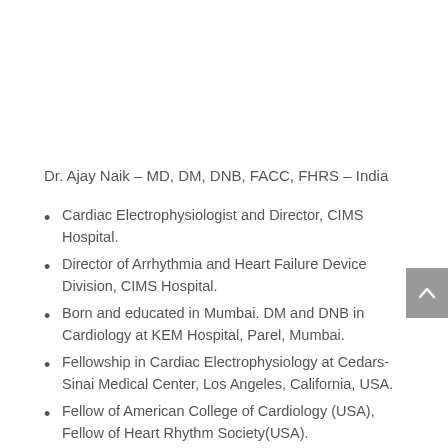Dr. Ajay Naik – MD, DM, DNB, FACC, FHRS – India
Cardiac Electrophysiologist and Director, CIMS Hospital.
Director of Arrhythmia and Heart Failure Device Division, CIMS Hospital.
Born and educated in Mumbai. DM and DNB in Cardiology at KEM Hospital, Parel, Mumbai.
Fellowship in Cardiac Electrophysiology at Cedars-Sinai Medical Center, Los Angeles, California, USA.
Fellow of American College of Cardiology (USA), Fellow of Heart Rhythm Society(USA).